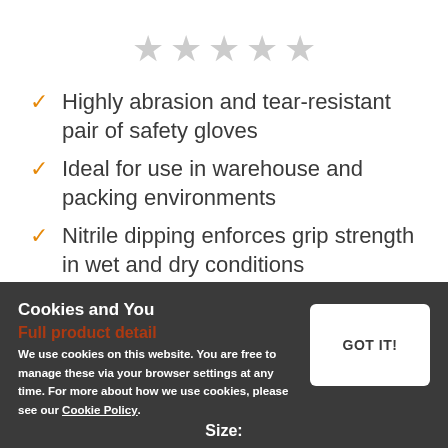[Figure (other): Five gray star rating icons in a row]
Highly abrasion and tear-resistant pair of safety gloves
Ideal for use in warehouse and packing environments
Nitrile dipping enforces grip strength in wet and dry conditions
Available in five different sizes from Small to XX-Large
Cookies and You
Full product detail
We use cookies on this website. You are free to manage these via your browser settings at any time. For more about how we use cookies, please see our Cookie Policy.
GOT IT!
Size: